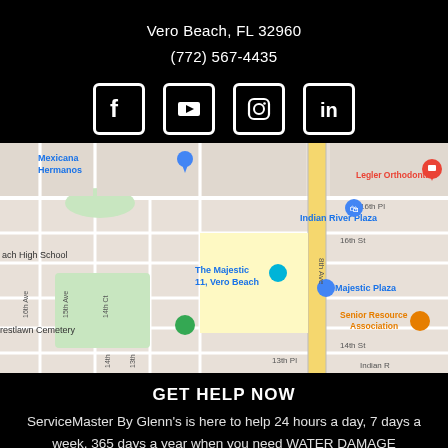Vero Beach, FL 32960
(772) 567-4435
[Figure (infographic): Four social media icons in white on black square backgrounds: Facebook, YouTube/video play, Instagram, LinkedIn]
[Figure (map): Google Maps screenshot showing Vero Beach, FL area with landmarks including Indian River Plaza, The Majestic 11, Majestic Plaza, Legler Orthodontics, Senior Resource Association, Crestlawn Cemetery, and street labels including 8th Ave, 14th-16th streets.]
GET HELP NOW
ServiceMaster By Glenn's is here to help 24 hours a day, 7 days a week, 365 days a year when you need WATER DAMAGE